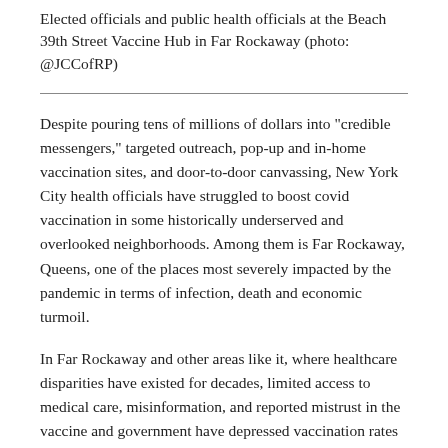Elected officials and public health officials at the Beach 39th Street Vaccine Hub in Far Rockaway (photo: @JCCofRP)
Despite pouring tens of millions of dollars into "credible messengers," targeted outreach, pop-up and in-home vaccination sites, and door-to-door canvassing, New York City health officials have struggled to boost covid vaccination in some historically underserved and overlooked neighborhoods. Among them is Far Rockaway, Queens, one of the places most severely impacted by the pandemic in terms of infection, death and economic turmoil.
In Far Rockaway and other areas like it, where healthcare disparities have existed for decades, limited access to medical care, misinformation, and reported mistrust in the vaccine and government have depressed vaccination rates for months. Only 35% of residents in